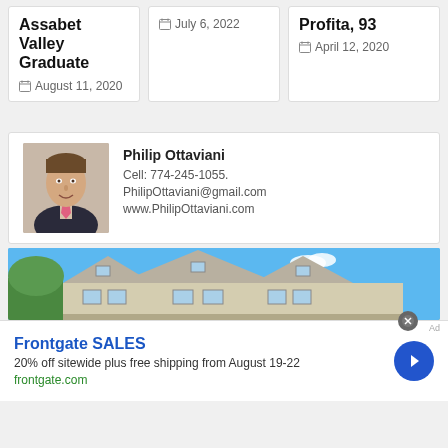Assabet Valley Graduate
August 11, 2020
July 6, 2022
Profita, 93
April 12, 2020
[Figure (photo): Headshot of Philip Ottaviani, a man in a suit with a pink tie, smiling]
Philip Ottaviani
Cell: 774-245-1055.
PhilipOttaviani@gmail.com
www.PhilipOttaviani.com
[Figure (photo): Exterior photo of a residential house with beige siding, multiple peaked gable roofs, and windows, against a blue sky with trees]
Frontgate SALES
20% off sitewide plus free shipping from August 19-22
frontgate.com